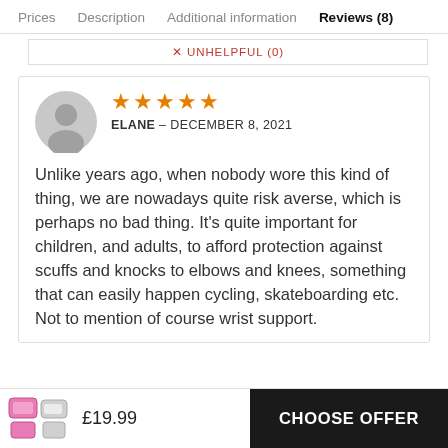Prices  Description  Additional information  Reviews (8)
✕ UNHELPFUL (0)
[Figure (illustration): Gray circular avatar icon showing a generic person silhouette]
★★★★★
ELANE – DECEMBER 8, 2021
Unlike years ago, when nobody wore this kind of thing, we are nowadays quite risk averse, which is perhaps no bad thing. It's quite important for children, and adults, to afford protection against scuffs and knocks to elbows and knees, something that can easily happen cycling, skateboarding etc. Not to mention of course wrist support.
[Figure (photo): Small product thumbnail image of pink protective gear set]
£19.99
CHOOSE OFFER